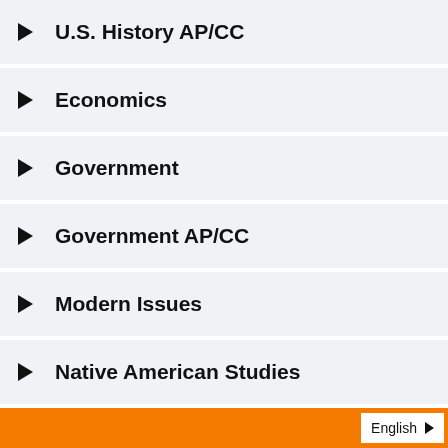U.S. History AP/CC
Economics
Government
Government AP/CC
Modern Issues
Native American Studies
English